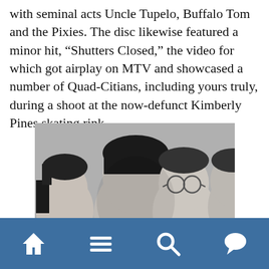with seminal acts Uncle Tupelo, Buffalo Tom and the Pixies. The disc likewise featured a minor hit, “Shutters Closed,” the video for which got airplay on MTV and showcased a number of Quad-Citians, including yours truly, during a shoot at the now-defunct Kimberly Pines skating rink.
[Figure (photo): Black and white photo of four young men grouped together, one with glasses, taken in close-up style.]
[Figure (infographic): Blue navigation bar with four white icons: home, menu (hamburger), search (magnifying glass), and speech bubble (comment).]